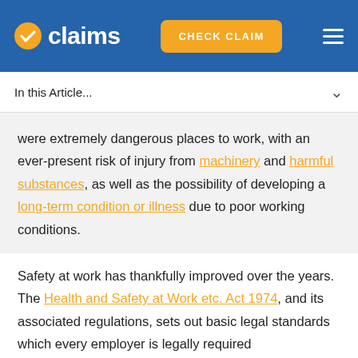claims | CHECK CLAIM
In this Article...
were extremely dangerous places to work, with an ever-present risk of injury from machinery and harmful substances, as well as the possibility of developing a long-term condition or illness due to poor working conditions.
Safety at work has thankfully improved over the years. The Health and Safety at Work etc. Act 1974, and its associated regulations, sets out basic legal standards which every employer is legally required